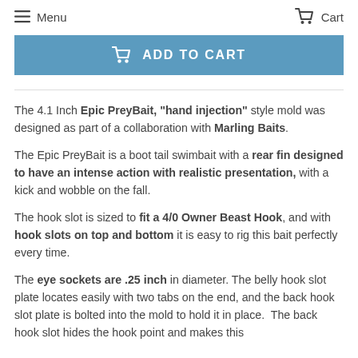Menu    Cart
[Figure (other): Add to Cart button with shopping cart icon, blue background, white text reading ADD TO CART]
The 4.1 Inch Epic PreyBait, "hand injection" style mold was designed as part of a collaboration with Marling Baits.
The Epic PreyBait is a boot tail swimbait with a rear fin designed to have an intense action with realistic presentation, with a kick and wobble on the fall.
The hook slot is sized to fit a 4/0 Owner Beast Hook, and with hook slots on top and bottom it is easy to rig this bait perfectly every time.
The eye sockets are .25 inch in diameter. The belly hook slot plate locates easily with two tabs on the end, and the back hook slot plate is bolted into the mold to hold it in place.  The back hook slot hides the hook point and makes this